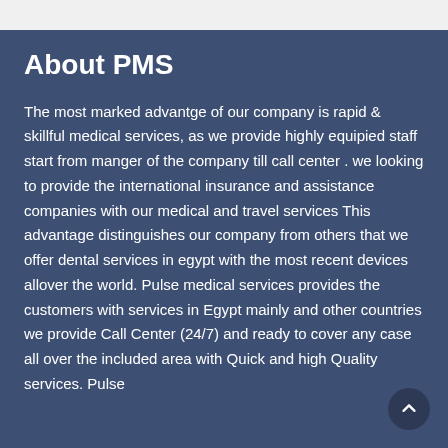About PMS
The most marked advantge of our company is rapid & skillful medical services, as we provide highly equipied staff start from manger of the company till call center . we looking to provide the international insurance and assistance companies with our medical and travel services
This advantage distinguishes our company from others that we offer dental services in egypt with the most recent devices allover the world. Pulse medical services provides the customers with services in Egypt mainly and other countries we provide Call Center (24/7) and ready to cover any case all over the included area with Quick and high Quality services. Pulse